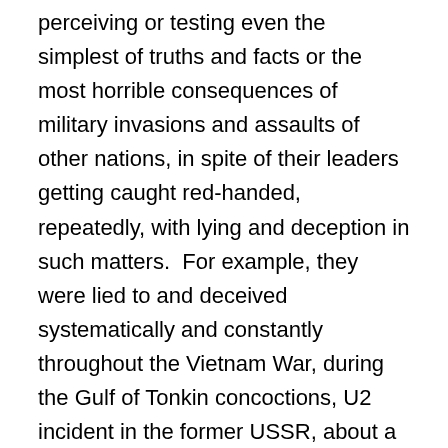perceiving or testing even the simplest of truths and facts or the most horrible consequences of military invasions and assaults of other nations, in spite of their leaders getting caught red-handed, repeatedly, with lying and deception in such matters.  For example, they were lied to and deceived systematically and constantly throughout the Vietnam War, during the Gulf of Tonkin concoctions, U2 incident in the former USSR, about a non-existing missile gap etc. etc. The history of many of these lies and deceptions is well documented and has been well publicized.  Just as a result of policies and actions, based on such official lies and deceptions, more than 3 million Indochinese and 58,000 Americans lost their lives during the Vietnam War, which also devastated and polluted that country enormously and diabolically.  David Wise had documented these and numerous other lies and deceptions of the US government leaders, to which